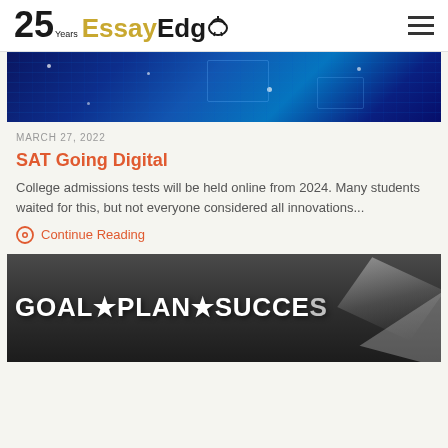25 Years EssayEdge
[Figure (photo): Blue digital circuit board / technology themed banner image]
MARCH 27, 2022
SAT Going Digital
College admissions tests will be held online from 2024. Many students waited for this, but not everyone considered all innovations...
Continue Reading
[Figure (photo): Black and white chalkboard image with text GOAL * PLAN * SUCCESS and arrow]